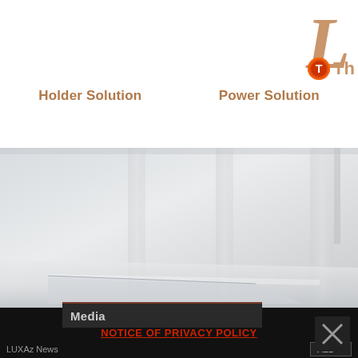[Figure (logo): Partial logo with large italic L in tan/brown color and Thermaltake icon with 'Th' text]
Holder Solution
Power Solution
[Figure (photo): Product photo of glass shelving/holder unit with vertical clear acrylic or glass stands on a light background]
Media
NOTICE OF PRIVACY POLICY
LUXAz News
ALL